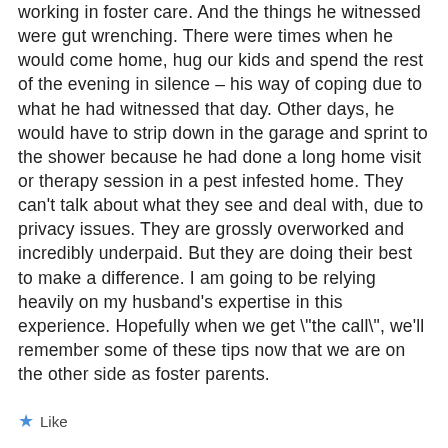working in foster care. And the things he witnessed were gut wrenching. There were times when he would come home, hug our kids and spend the rest of the evening in silence – his way of coping due to what he had witnessed that day. Other days, he would have to strip down in the garage and sprint to the shower because he had done a long home visit or therapy session in a pest infested home. They can't talk about what they see and deal with, due to privacy issues. They are grossly overworked and incredibly underpaid. But they are doing their best to make a difference. I am going to be relying heavily on my husband's expertise in this experience. Hopefully when we get "the call", we'll remember some of these tips now that we are on the other side as foster parents.
Like